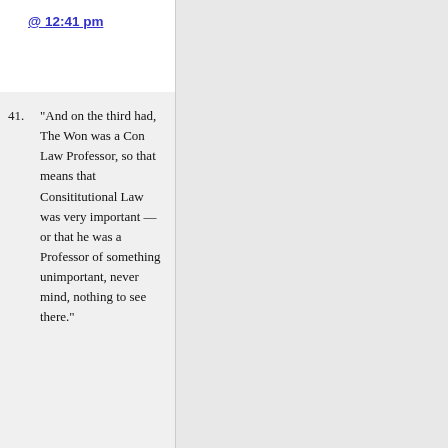@ 12:41 pm
41. “And on the third had, The Won was a Con Law Professor, so that means that Consititutional Law was very important — or that he was a Professor of something unimportant, never mind, nothing to see there.”
I believe his course was an elective, and